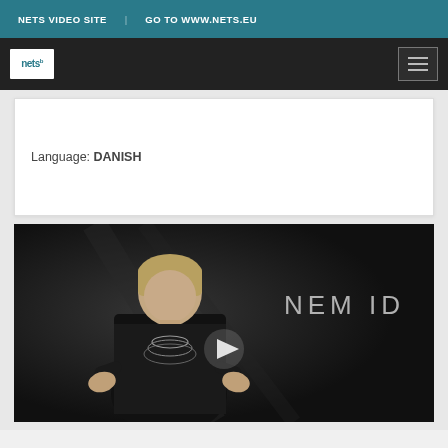NETS VIDEO SITE   GO TO WWW.NETS.EU
[Figure (logo): Nets logo - white box with 'nets' text and superscript symbol on dark navigation bar with hamburger menu icon]
Language: DANISH
[Figure (screenshot): Video thumbnail showing a woman in a black outfit against a dark chalkboard-style background with 'NEM ID' text logo on the right side and a play button in the center]